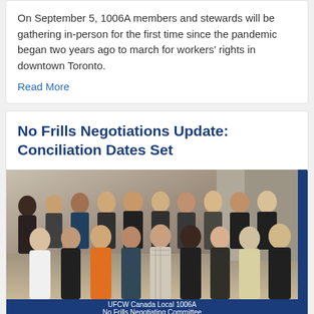On September 5, 1006A members and stewards will be gathering in-person for the first time since the pandemic began two years ago to march for workers' rights in downtown Toronto.
Read More
No Frills Negotiations Update: Conciliation Dates Set
[Figure (photo): Group photo of UFCW Canada Local 1006A No Frills Negotiating Committee members standing together indoors, with a blue banner caption at the bottom reading 'UFCW Canada Local 1006A No Frills Negotiating Committee']
UFCW Canada Local 1006A
No Frills Negotiating Committee